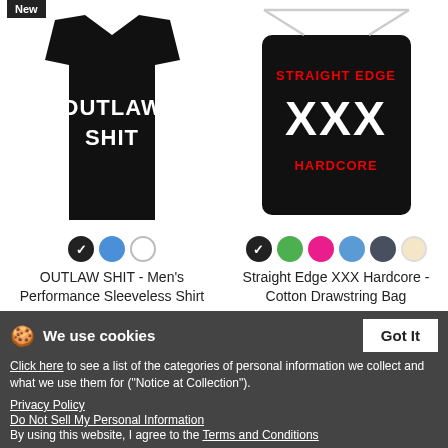[Figure (photo): Black sleeveless shirt with 'OUTLAW SHIT' text in white, with 'New' badge. Color swatches: black (selected), blue, white.]
OUTLAW SHIT - Men's Performance Sleeveless Shirt
$22.49
[Figure (photo): Black drawstring bag with 'STRAIGHT EDGE XXX HARDCORE' text. Color swatches: black (selected), green, pink, blue, navy, cream.]
Straight Edge XXX Hardcore - Cotton Drawstring Bag
$13.99
We use cookies
Click here to see a list of the categories of personal information we collect and what we use them for ("Notice at Collection").
Privacy Policy
Do Not Sell My Personal Information
By using this website, I agree to the Terms and Conditions